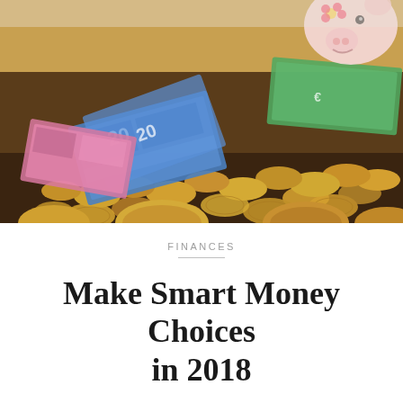[Figure (photo): Photo of a pile of Euro coins and banknotes (€20 notes) with a piggy bank in the background on the upper right]
FINANCES
Make Smart Money Choices in 2018